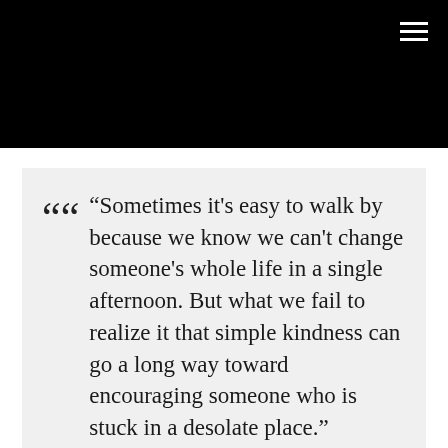[Figure (other): Black header banner with hamburger menu icon (three white horizontal lines) in the top right corner]
“Sometimes it's easy to walk by because we know we can't change someone's whole life in a single afternoon. But what we fail to realize it that simple kindness can go a long way toward encouraging someone who is stuck in a desolate place.” Mike Yankoski